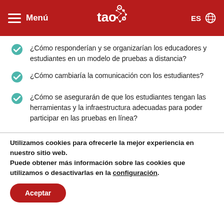Menú | tao | ES
¿Cómo responderían y se organizarían los educadores y estudiantes en un modelo de pruebas a distancia?
¿Cómo cambiaría la comunicación con los estudiantes?
¿Cómo se asegurarán de que los estudiantes tengan las herramientas y la infraestructura adecuadas para poder participar en las pruebas en línea?
Utilizamos cookies para ofrecerle la mejor experiencia en nuestro sitio web.
Puede obtener más información sobre las cookies que utilizamos o desactivarlas en la configuración.